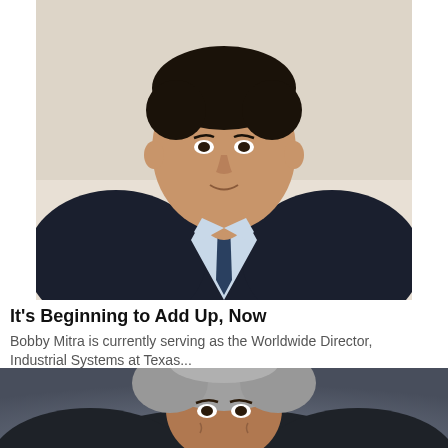[Figure (photo): Professional headshot of Bobby Mitra, a man in a dark suit jacket with a light blue striped shirt and patterned tie, against a light background.]
It's Beginning to Add Up, Now
Bobby Mitra is currently serving as the Worldwide Director, Industrial Systems at Texas...
[Figure (photo): Professional headshot of a man with gray hair, against a dark gray background, partially cropped at bottom of page.]